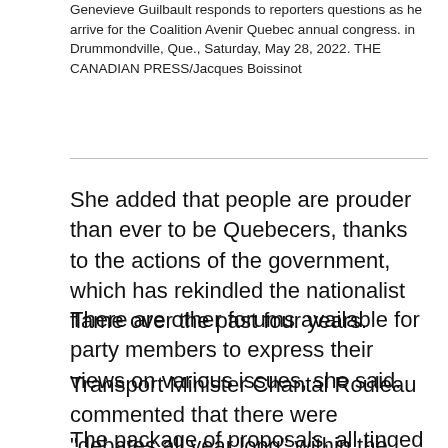Genevieve Guilbault responds to reporters questions as he arrive for the Coalition Avenir Quebec annual congress. in Drummondville, Que., Saturday, May 28, 2022. THE CANADIAN PRESS/Jacques Boissinot
She added that people are prouder than ever to be Quebecers, thanks to the actions of the government, which has rekindled the nationalist flame over the past four years.
There are other forums available for party members to express their views on various issues, she said.
Transport Minister Chantal Rouleau commented that there were "debates all year long" within the CAQ.
The package of proposals, all tinged with strong